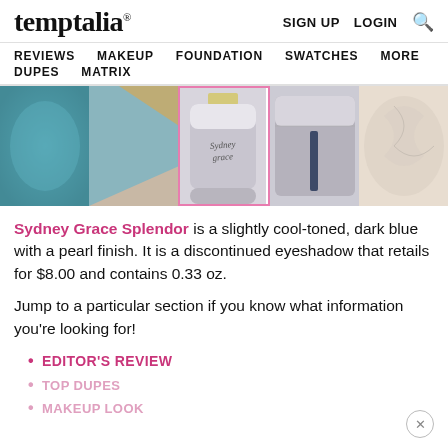temptalia® | SIGN UP  LOGIN  🔍
REVIEWS  MAKEUP  FOUNDATION  SWATCHES  MORE  DUPES  MATRIX
[Figure (photo): Five product photos in a horizontal strip: teal eyeshadow swatch on skin, diagonal teal and gold stripe swatch, Sydney Grace tube product (highlighted with pink border), product tube close-up, and shell/marble texture]
Sydney Grace Splendor is a slightly cool-toned, dark blue with a pearl finish. It is a discontinued eyeshadow that retails for $8.00 and contains 0.33 oz.
Jump to a particular section if you know what information you're looking for!
EDITOR'S REVIEW
TOP DUPES
MAKEUP LOOK